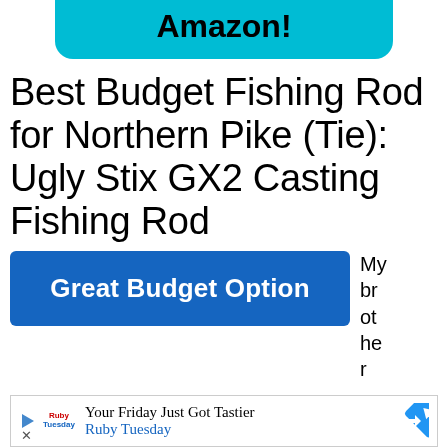Amazon!
Best Budget Fishing Rod for Northern Pike (Tie): Ugly Stix GX2 Casting Fishing Rod
[Figure (other): Blue button with text 'Great Budget Option']
My brother
[Figure (other): Advertisement banner: 'Your Friday Just Got Tastier - Ruby Tuesday']